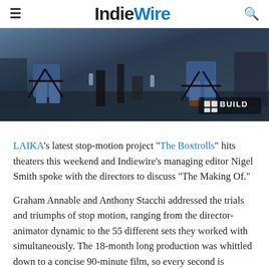IndieWire
[Figure (photo): Behind-the-scenes photo of two people sitting on director's chairs on a film set, with equipment and a blue background. A BUILD logo badge is visible in the lower right.]
LAIKA's latest stop-motion project "The Boxtrolls" hits theaters this weekend and Indiewire's managing editor Nigel Smith spoke with the directors to discuss "The Making Of."
Graham Annable and Anthony Stacchi addressed the trials and triumphs of stop motion, ranging from the director-animator dynamic to the 55 different sets they worked with simultaneously. The 18-month long production was whittled down to a concise 90-minute film, so every second is inundated with the production team's meticulous efforts. As Annable and Stacchi revealed, stop-motion animation is